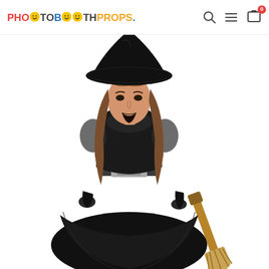PHOTOBOOTHPROPS. [navigation icons: search, menu, cart (0)]
[Figure (photo): A woman wearing a black witch Halloween costume consisting of a black dress with sheer short sleeves, a silver metallic belt, black fingerless gloves, a tall pointed black witch hat, and holding a broomstick. She has long brown hair and dark lipstick. The background is white.]